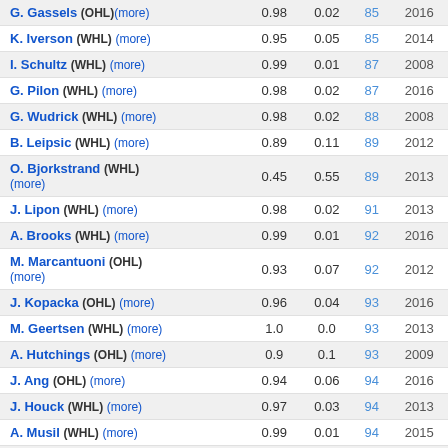| Player | Col1 | Col2 | Rank | Year |
| --- | --- | --- | --- | --- |
| G. Gassels (OHL)(more) | 0.98 | 0.02 | 85 | 2016 |
| K. Iverson (WHL)(more) | 0.95 | 0.05 | 85 | 2014 |
| I. Schultz (WHL)(more) | 0.99 | 0.01 | 87 | 2008 |
| G. Pilon (WHL)(more) | 0.98 | 0.02 | 87 | 2016 |
| G. Wudrick (WHL)(more) | 0.98 | 0.02 | 88 | 2008 |
| B. Leipsic (WHL)(more) | 0.89 | 0.11 | 89 | 2012 |
| O. Bjorkstrand (WHL)(more) | 0.45 | 0.55 | 89 | 2013 |
| J. Lipon (WHL)(more) | 0.98 | 0.02 | 91 | 2013 |
| A. Brooks (WHL)(more) | 0.99 | 0.01 | 92 | 2016 |
| M. Marcantuoni (OHL)(more) | 0.93 | 0.07 | 92 | 2012 |
| J. Kopacka (OHL)(more) | 0.96 | 0.04 | 93 | 2016 |
| M. Geertsen (WHL)(more) | 1.0 | 0.0 | 93 | 2013 |
| A. Hutchings (OHL)(more) | 0.9 | 0.1 | 93 | 2009 |
| J. Ang (OHL)(more) | 0.94 | 0.06 | 94 | 2016 |
| J. Houck (WHL)(more) | 0.97 | 0.03 | 94 | 2013 |
| A. Musil (WHL)(more) | 0.99 | 0.01 | 94 | 2015 |
| J. Shalla (OHL)(more) | 0.9 | 0.1 | 94 | 2011 |